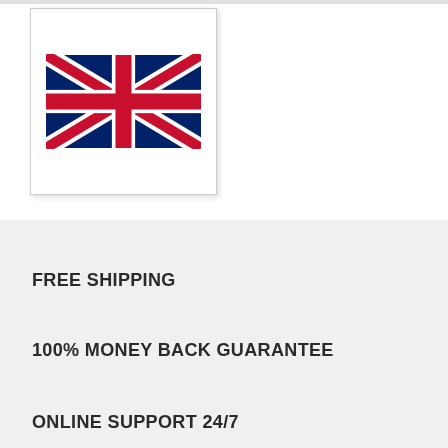[Figure (illustration): Union Jack (UK flag) displayed in a white box with border and shadow]
FREE SHIPPING
100% MONEY BACK GUARANTEE
ONLINE SUPPORT 24/7